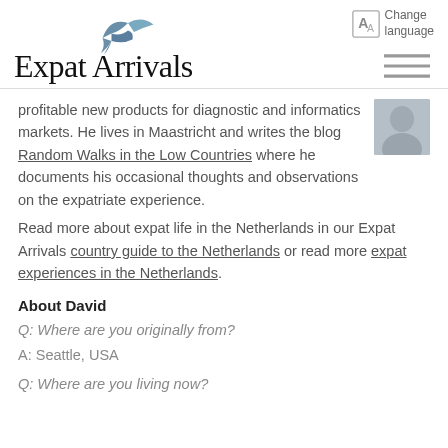Expat Arrivals | Change language
profitable new products for diagnostic and informatics markets. He lives in Maastricht and writes the blog Random Walks in the Low Countries where he documents his occasional thoughts and observations on the expatriate experience.
Read more about expat life in the Netherlands in our Expat Arrivals country guide to the Netherlands or read more expat experiences in the Netherlands.
About David
Q: Where are you originally from?
A: Seattle, USA
Q: Where are you living now?